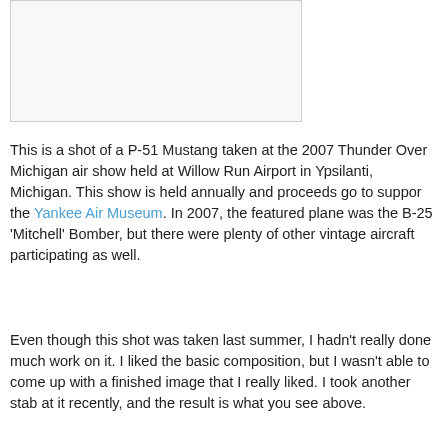[Figure (photo): Photograph placeholder box — image of P-51 Mustang at Thunder Over Michigan air show]
This is a shot of a P-51 Mustang taken at the 2007 Thunder Over Michigan air show held at Willow Run Airport in Ypsilanti, Michigan. This show is held annually and proceeds go to suppor the Yankee Air Museum. In 2007, the featured plane was the B-25 'Mitchell' Bomber, but there were plenty of other vintage aircraft participating as well.
Even though this shot was taken last summer, I hadn't really done much work on it. I liked the basic composition, but I wasn't able to come up with a finished image that I really liked. I took another stab at it recently, and the result is what you see above.